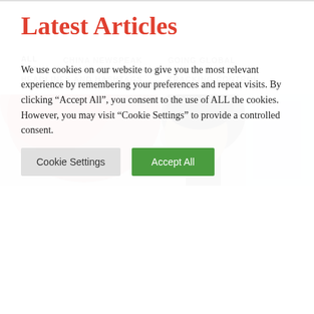Latest Articles
ALL   CHINA NEWSPEAK   GOING GLOBAL   HEADLINES AND HASHTAGS   TRACKING CONTROL
[Figure (photo): Cropped image showing a man's profile/side face with a red flag in the background, likely Xi Jinping]
We use cookies on our website to give you the most relevant experience by remembering your preferences and repeat visits. By clicking "Accept All", you consent to the use of ALL the cookies. However, you may visit "Cookie Settings" to provide a controlled consent.
Cookie Settings   Accept All